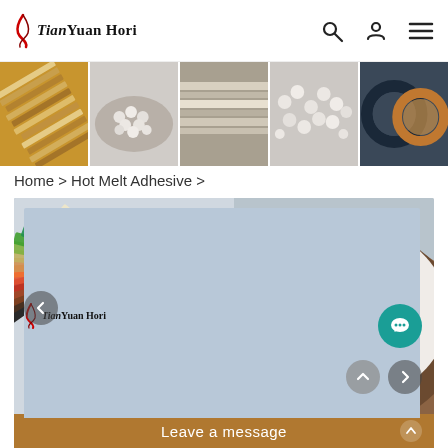TianYuan Hori
[Figure (photo): Horizontal banner strip showing 5 product photos: wood laminate pages fan, white adhesive beads in bowl, edge banding strips, more white beads scattered, dark and wood-toned rings.]
Home > Hot Melt Adhesive >
[Figure (photo): Large product hero image showing colorful edge banding strips fanned out on left and a large wooden bowl filled with white hot melt adhesive pellets/beads on right. TianYuan Hori logo watermark in top-left. Left and right carousel navigation arrows, chat bubble button, scroll-up button overlaid.]
Leave a message